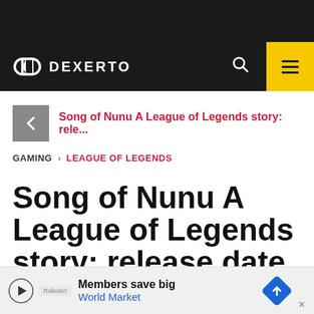Dexerto
Song of Nunu A League of Legends story: rele...
GAMING > LEAGUE OF LEGENDS
Song of Nunu A League of Legends story: release date, ga...
Members save big World Market